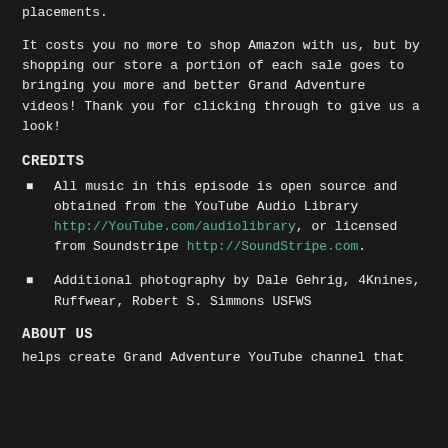placements.
It costs you no more to shop Amazon with us, but by shopping our store a portion of each sale goes to bringing you more and better Grand Adventure videos! Thank you for clicking through to give us a look!
CREDITS
All music in this episode is open source and obtained from the YouTube Audio Library http://YouTube.com/audiolibrary, or licensed from Soundstripe http://SoundStripe.com.
Additional photography by Dale Gehrig, 4Knines, Ruffwear, Robert S. Simmons USFWS
ABOUT US
helps create Grand Adventure YouTube channel that